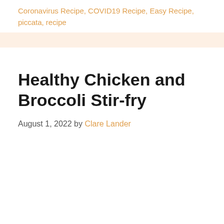Coronavirus Recipe, COVID19 Recipe, Easy Recipe, piccata, recipe
Healthy Chicken and Broccoli Stir-fry
August 1, 2022 by Clare Lander